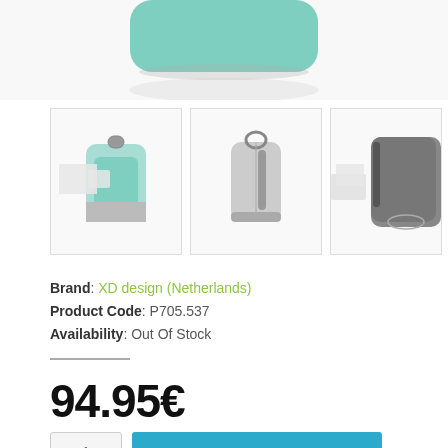[Figure (photo): Top portion of a mint green anti-theft backpack, cropped view from above]
[Figure (photo): Thumbnail 1: Front view of mint green and grey anti-theft backpack]
[Figure (photo): Thumbnail 2: Side/rear view of grey anti-theft backpack]
[Figure (photo): Thumbnail 3: Partial view of dark grey/black backpack, cropped at right edge]
Brand: XD design (Netherlands)
Product Code: P705.537
Availability: Out Of Stock
94.95€